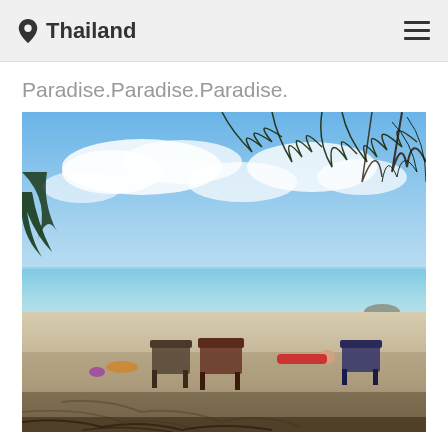Thailand
Paradise.Paradise.Paradise.
[Figure (photo): Beach scene in Thailand with people relaxing on beach chairs and lounging on sand, clear turquoise sea in background, pine/casuarina trees hanging overhead, blue sky with white clouds.]